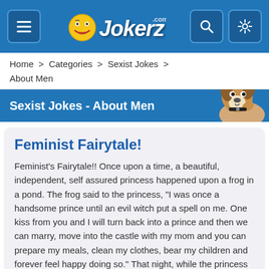JokerZ.com — hamburger menu, search, and settings icons
Home > Categories > Sexist Jokes > About Men
Sexist Jokes - About Men
Feminist Fairytale!
Feminist's Fairytale!! Once upon a time, a beautiful, independent, self assured princess happened upon a frog in a pond. The frog said to the princess, "I was once a handsome prince until an evil witch put a spell on me. One kiss from you and I will turn back into a prince and then we can marry, move into the castle with my mom and you can prepare my meals, clean my clothes, bear my children and forever feel happy doing so." That night, while the princess dined on frog legs, she kept laughing and saying, "I don't think so."